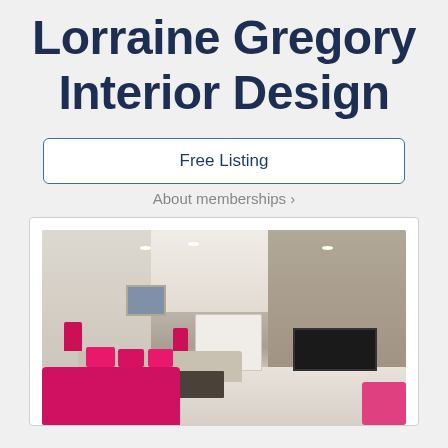Lorraine Gregory Interior Design
Free Listing
About memberships ›
[Figure (photo): Interior design photo of an elegant living room with beige/cream walls, grey textured accent wall, white fireplace, flat screen TV, beige sofas, pink/magenta cushions and pink accent chairs, with recessed ceiling lights and pink lamp shades.]